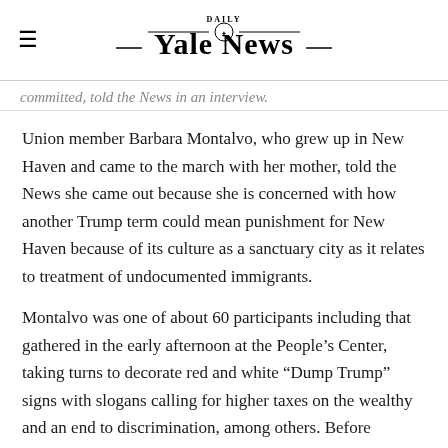Yale Daily News
committed, told the News in an interview.
Union member Barbara Montalvo, who grew up in New Haven and came to the march with her mother, told the News she came out because she is concerned with how another Trump term could mean punishment for New Haven because of its culture as a sanctuary city as it relates to treatment of undocumented immigrants.
Montalvo was one of about 60 participants including that gathered in the early afternoon at the People’s Center, taking turns to decorate red and white “Dump Trump” signs with slogans calling for higher taxes on the wealthy and an end to discrimination, among others. Before